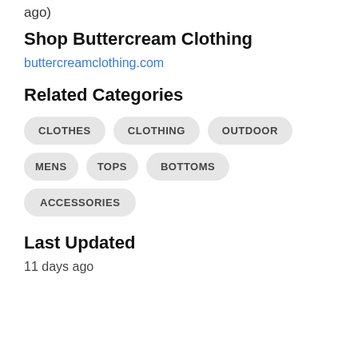ago)
Shop Buttercream Clothing
buttercreamclothing.com
Related Categories
CLOTHES
CLOTHING
OUTDOOR
MENS
TOPS
BOTTOMS
ACCESSORIES
Last Updated
11 days ago